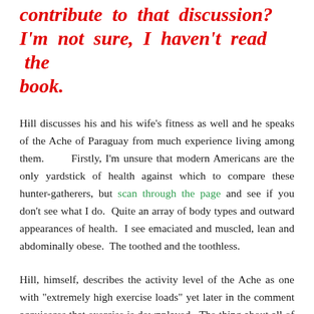contribute to that discussion? I'm not sure, I haven't read the book.
Hill discusses his and his wife's fitness as well and he speaks of the Ache of Paraguay from much experience living among them.      Firstly, I'm unsure that modern Americans are the only yardstick of health against which to compare these hunter-gatherers, but scan through the page and see if you don't see what I do.  Quite an array of body types and outward appearances of health.  I see emaciated and muscled, lean and abdominally obese.  The toothed and the toothless.
Hill, himself, describes the activity level of the Ache as one with "extremely high exercise loads" yet later in the comment acquiesces that exercise is downplayed.  The thing about all of these cultures is that you can't just take dietary lessons without environmental context – at least Kruse got that much correct (to be continued...)